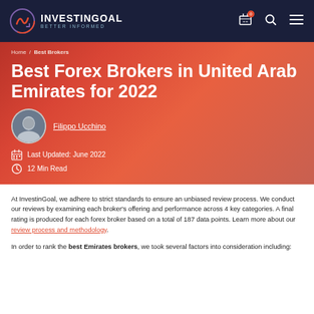INVESTINGOAL BETTER INFORMED
Home / Best Brokers
Best Forex Brokers in United Arab Emirates for 2022
Filippo Ucchino
Last Updated: June 2022
12 Min Read
At InvestinGoal, we adhere to strict standards to ensure an unbiased review process. We conduct our reviews by examining each broker's offering and performance across 4 key categories. A final rating is produced for each forex broker based on a total of 187 data points. Learn more about our review process and methodology.
In order to rank the best Emirates brokers, we took several factors into consideration including: